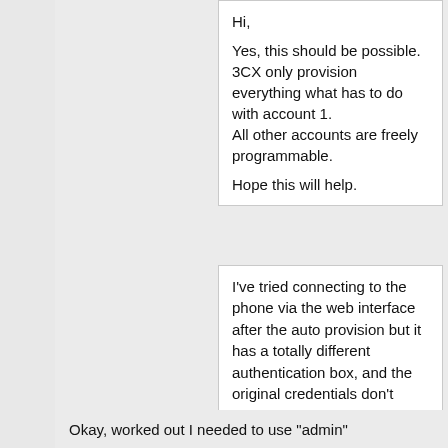Hi,

Yes, this should be possible.
3CX only provision everything what has to do with account 1.
All other accounts are freely programmable.

Hope this will help.
I've tried connecting to the phone via the web interface after the auto provision but it has a totally different authentication box, and the original credentials don't work. Is this normal? What are these credentials? (I did try using the ones in the "phones" area of the 3cx management portal but they don't seem correct.
Okay, worked out I needed to use "admin"